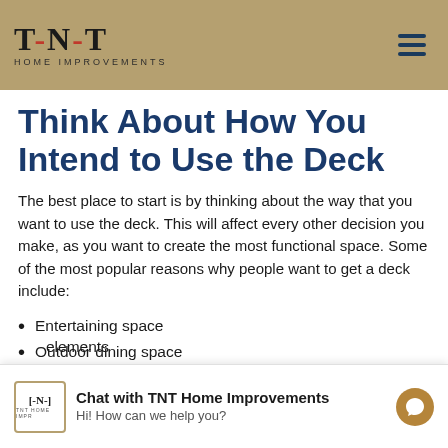T-N-T HOME IMPROVEMENTS
Think About How You Intend to Use the Deck
The best place to start is by thinking about the way that you want to use the deck. This will affect every other decision you make, as you want to create the most functional space. Some of the most popular reasons why people want to get a deck include:
Entertaining space
Outdoor dining space
Outdoor kitchen
elements